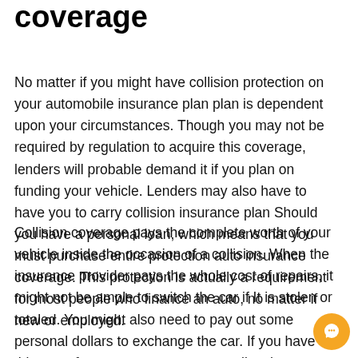coverage
No matter if you might have collision protection on your automobile insurance plan plan is dependent upon your circumstances. Though you may not be required by regulation to acquire this coverage, lenders will probable demand it if you plan on funding your vehicle. Lenders may also have to have you to carry collision insurance plan Should you have a personal loan, which means that you must purchase entire protection auto insurance coverage. This protection is actually a requirement for most people who finance an auto, no matter if new or employed.
Collision coverage pays the complete worth of your vehicle inside the occasion of a collision. When the insurance provider pays the whole cost of repairs, it might not be ample to switch the car if It is stolen or totaled. You might also need to pay out some personal dollars to exchange the car. If you have this sort of coverage, ensure you realize th